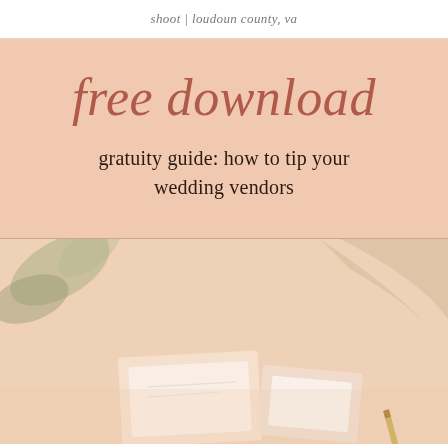shoot | loudoun county, va
free download
gratuity guide: how to tip your wedding vendors
[Figure (photo): Flat lay photo of wedding planning materials on a soft peach background with plant leaves, papers, and stationery items]